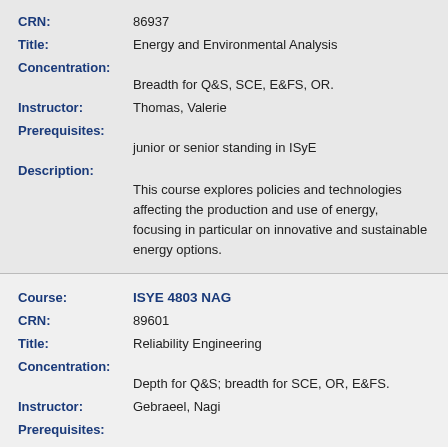CRN: 86937
Title: Energy and Environmental Analysis
Concentration:
Breadth for Q&S, SCE, E&FS, OR.
Instructor: Thomas, Valerie
Prerequisites:
junior or senior standing in ISyE
Description:
This course explores policies and technologies affecting the production and use of energy, focusing in particular on innovative and sustainable energy options.
Course: ISYE 4803 NAG
CRN: 89601
Title: Reliability Engineering
Concentration:
Depth for Q&S; breadth for SCE, OR, E&FS.
Instructor: Gebraeel, Nagi
Prerequisites: